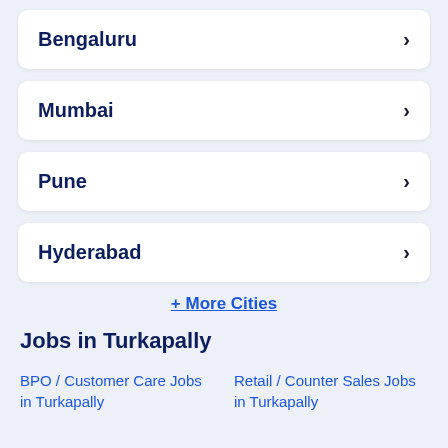Bengaluru
Mumbai
Pune
Hyderabad
+ More Cities
Jobs in Turkapally
BPO / Customer Care Jobs in Turkapally
Retail / Counter Sales Jobs in Turkapally